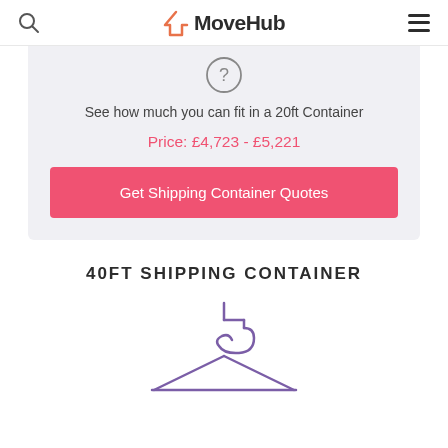MoveHub
See how much you can fit in a 20ft Container
Price: £4,723 - £5,221
Get Shipping Container Quotes
40FT SHIPPING CONTAINER
[Figure (illustration): Purple icon of a clothes hanger]